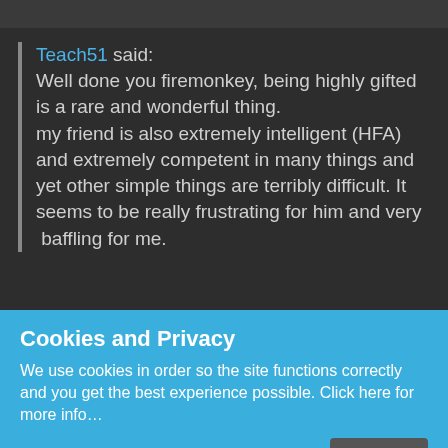Teach51 said: Well done you firemonkey, being highly gifted is a rare and wonderful thing. my friend is also extremely intelligent (HFA) and extremely competent in many things and yet other simple things are terribly difficult. It seems to be really frustrating for him and very  baffling for me.
Cookies and Privacy
We use cookies in order so the site functions correctly and you get the best experience possible. Click here for more info...
If you consent to this click "I agree"